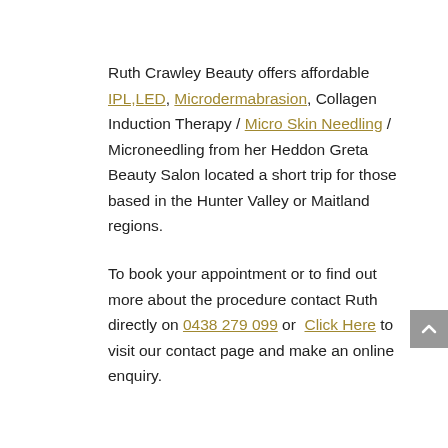Ruth Crawley Beauty offers affordable IPL,LED, Microdermabrasion, Collagen Induction Therapy / Micro Skin Needling /  Microneedling from her Heddon Greta Beauty Salon located a short trip for those based in the Hunter Valley or Maitland regions.
To book your appointment or to find out more about the procedure contact Ruth directly on 0438 279 099 or  Click Here to visit our contact page and make an online enquiry.